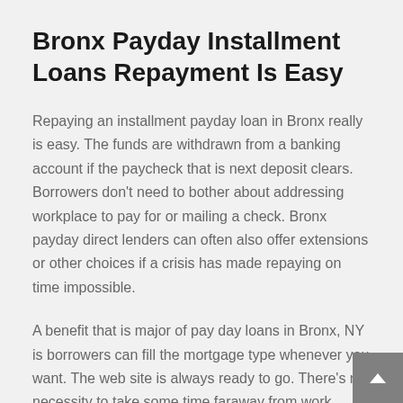Bronx Payday Installment Loans Repayment Is Easy
Repaying an installment payday loan in Bronx really is easy. The funds are withdrawn from a banking account if the paycheck that is next deposit clears. Borrowers don't need to bother about addressing workplace to pay for or mailing a check. Bronx payday direct lenders can often also offer extensions or other choices if a crisis has made repaying on time impossible.
A benefit that is major of pay day loans in Bronx, NY is borrowers can fill the mortgage type whenever you want. The web site is always ready to go. There's no necessity to take some time faraway from work simply to visit a working workplace and fill the installment loan type. Bronx payday installment loan online can be